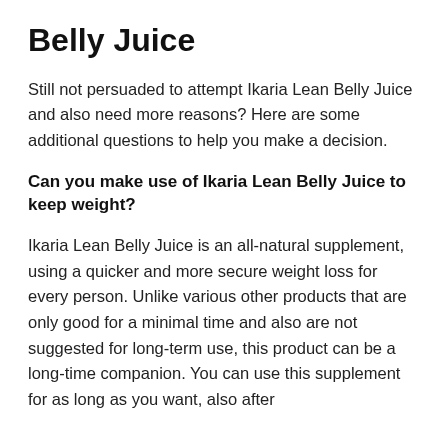Belly Juice
Still not persuaded to attempt Ikaria Lean Belly Juice and also need more reasons? Here are some additional questions to help you make a decision.
Can you make use of Ikaria Lean Belly Juice to keep weight?
Ikaria Lean Belly Juice is an all-natural supplement, using a quicker and more secure weight loss for every person. Unlike various other products that are only good for a minimal time and also are not suggested for long-term use, this product can be a long-time companion. You can use this supplement for as long as you want, also after